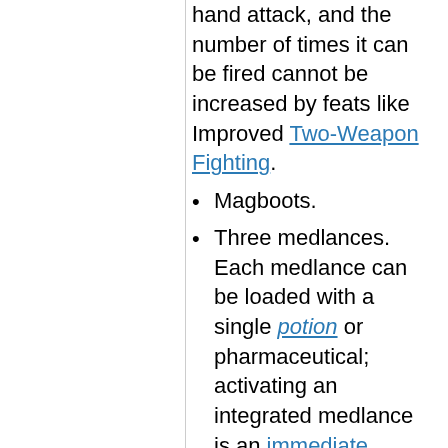hand attack, and the number of times it can be fired cannot be increased by feats like Improved Two-Weapon Fighting.
Magboots.
Three medlances. Each medlance can be loaded with a single potion or pharmaceutical; activating an integrated medlance is an immediate action.
Power receiver.
Prismatic force field located on hips; activating this force field is a swift action.
Radiation detector on the right wrist.
Custom veemods in the